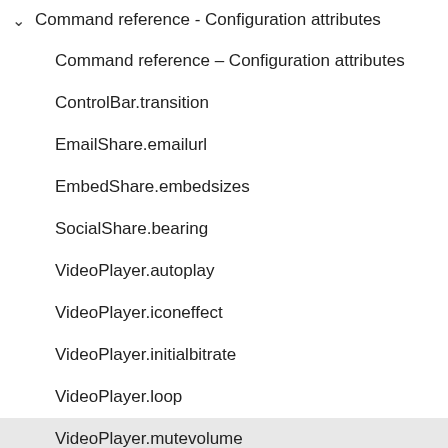Command reference - Configuration attributes
Command reference – Configuration attributes
ControlBar.transition
EmailShare.emailurl
EmbedShare.embedsizes
SocialShare.bearing
VideoPlayer.autoplay
VideoPlayer.iconeffect
VideoPlayer.initialbitrate
VideoPlayer.loop
VideoPlayer.mutevolume
VideoPlayer.playback